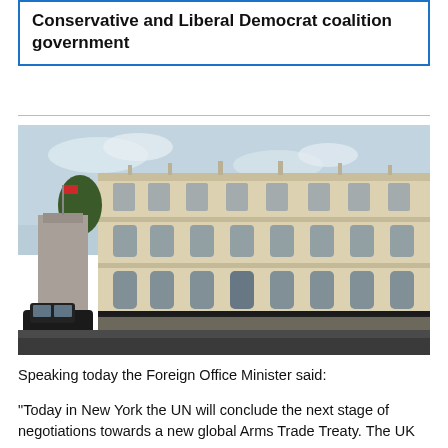Conservative and Liberal Democrat coalition government
[Figure (photo): Exterior photograph of the Foreign and Commonwealth Office building in London, a grand classical Victorian building with ornate facades, arched windows, and statues. A black taxi and trees are visible in the foreground.]
Speaking today the Foreign Office Minister said:
“Today in New York the UN will conclude the next stage of negotiations towards a new global Arms Trade Treaty. The UK